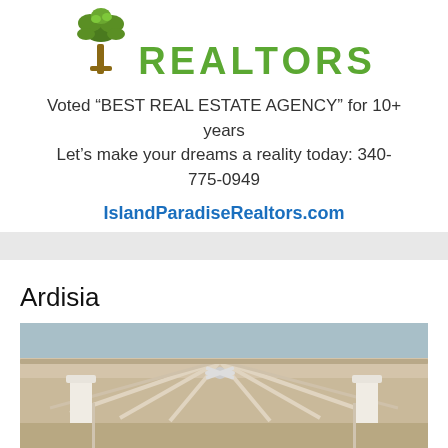[Figure (logo): Island Paradise Realtors logo with palm tree illustration and green REALTORS text]
Voted “BEST REAL ESTATE AGENCY” for 10+ years
Let’s make your dreams a reality today: 340-775-0949
IslandParadiseRealtors.com
Ardisia
[Figure (photo): Interior photo of a building showing a vaulted ceiling with exposed wooden beams, white columns, and a ceiling fan, with a blue decorative element visible]